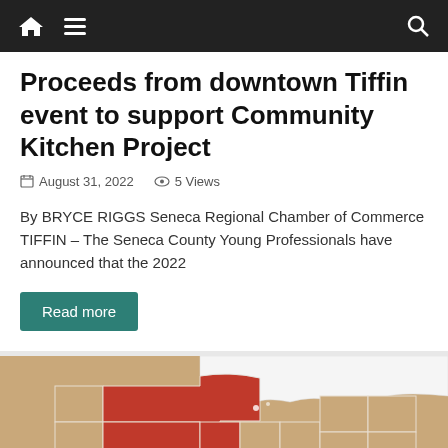Navigation bar with home, menu, and search icons
Proceeds from downtown Tiffin event to support Community Kitchen Project
August 31, 2022   5 Views
By BRYCE RIGGS Seneca Regional Chamber of Commerce TIFFIN – The Seneca County Young Professionals have announced that the 2022
Read more
[Figure (map): Map of Ohio counties with several counties highlighted in red (likely Seneca region) and others in tan/brown.]